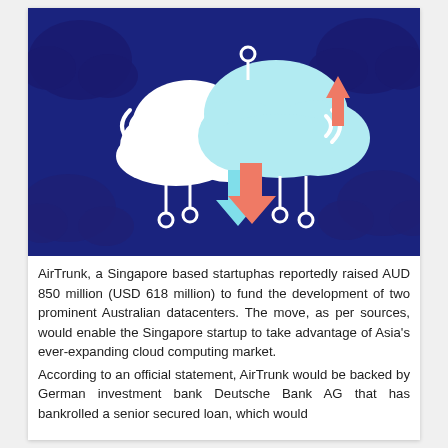[Figure (illustration): Cloud computing illustration on dark navy blue background. Shows two clouds (white and light blue/teal), with circuit-like connectors with circular endpoints. Arrows pointing down in salmon/coral and teal colors beneath the clouds, and an upward arrow in salmon/coral on the right side. Background has darker navy cloud shapes in corners.]
AirTrunk, a Singapore based startuphas reportedly raised AUD 850 million (USD 618 million) to fund the development of two prominent Australian datacenters. The move, as per sources, would enable the Singapore startup to take advantage of Asia's ever-expanding cloud computing market.
According to an official statement, AirTrunk would be backed by German investment bank Deutsche Bank AG that has bankrolled a senior secured loan, which would